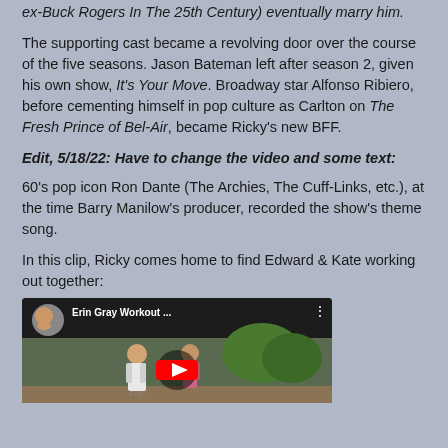ex-Buck Rogers In The 25th Century) eventually marry him.
The supporting cast became a revolving door over the course of the five seasons. Jason Bateman left after season 2, given his own show, It's Your Move. Broadway star Alfonso Ribiero, before cementing himself in pop culture as Carlton on The Fresh Prince of Bel-Air, became Ricky's new BFF.
Edit, 5/18/22: Have to change the video and some text:
60's pop icon Ron Dante (The Archies, The Cuff-Links, etc.), at the time Barry Manilow's producer, recorded the show's theme song.
In this clip, Ricky comes home to find Edward & Kate working out together:
[Figure (screenshot): YouTube video thumbnail showing 'Erin Gray Workout ...' with two people in a scene, red play button visible]